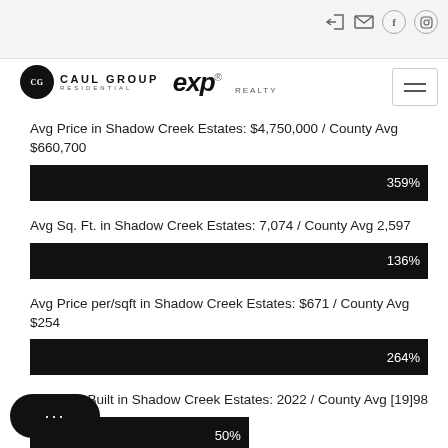Caul Group Residential | eXp Realty
Avg Price in Shadow Creek Estates: $4,750,000 / County Avg $660,700
[Figure (bar-chart): Avg Price]
Avg Sq. Ft. in Shadow Creek Estates: 7,074 / County Avg 2,597
[Figure (bar-chart): Avg Sq Ft]
Avg Price per/sqft in Shadow Creek Estates: $671 / County Avg $254
[Figure (bar-chart): Avg Price per sqft]
Avg Year Built in Shadow Creek Estates: 2022 / County Avg [19]98
[Figure (bar-chart): Avg Year Built]